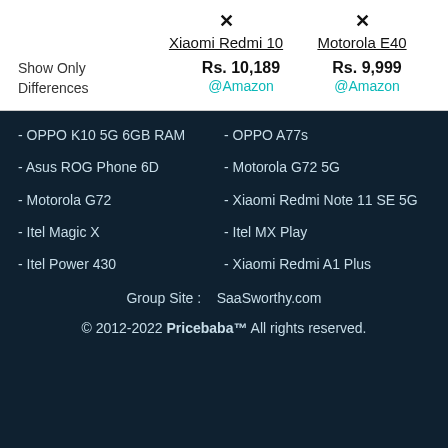|  | Xiaomi Redmi 10 | Motorola E40 |
| --- | --- | --- |
| Show Only Differences | Rs. 10,189
@Amazon | Rs. 9,999
@Amazon |
- OPPO K10 5G 6GB RAM
- OPPO A77s
- Asus ROG Phone 6D
- Motorola G72 5G
- Motorola G72
- Xiaomi Redmi Note 11 SE 5G
- Itel Magic X
- Itel MX Play
- Itel Power 430
- Xiaomi Redmi A1 Plus
Group Site :    SaaSworthy.com
© 2012-2022 Pricebaba™ All rights reserved.